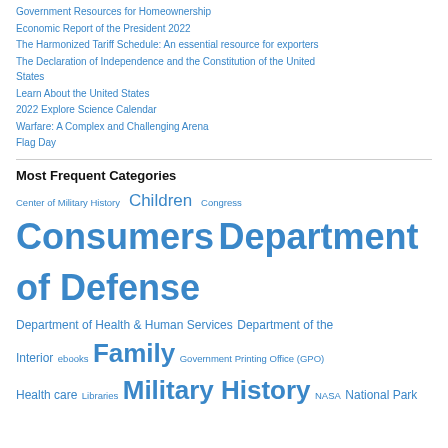Government Resources for Homeownership
Economic Report of the President 2022
The Harmonized Tariff Schedule: An essential resource for exporters
The Declaration of Independence and the Constitution of the United States
Learn About the United States
2022 Explore Science Calendar
Warfare: A Complex and Challenging Arena
Flag Day
Most Frequent Categories
Center of Military History  Children  Congress  Consumers  Department of Defense  Department of Health & Human Services  Department of the Interior  ebooks  Family  Government Printing Office (GPO)  Health care  Libraries  Military History  NASA  National Park